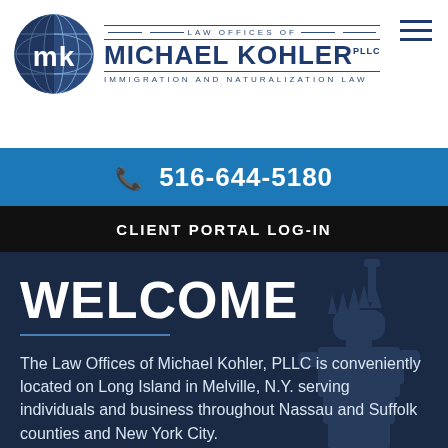[Figure (logo): Law Offices of Michael Kohler PLLC - Immigration and Naturalization Law logo with globe icon]
📞 516-644-5180
CLIENT PORTAL LOG-IN
WELCOME
The Law Offices of Michael Kohler, PLLC is conveniently located on Long Island in Melville, N.Y. serving individuals and business throughout Nassau and Suffolk counties and New York City.